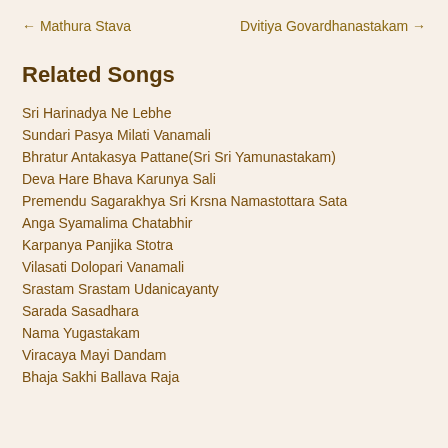← Mathura Stava    Dvitiya Govardhanastakam →
Related Songs
Sri Harinadya Ne Lebhe
Sundari Pasya Milati Vanamali
Bhratur Antakasya Pattane(Sri Sri Yamunastakam)
Deva Hare Bhava Karunya Sali
Premendu Sagarakhya Sri Krsna Namastottara Sata
Anga Syamalima Chatabhir
Karpanya Panjika Stotra
Vilasati Dolopari Vanamali
Srastam Srastam Udanicayanty
Sarada Sasadhara
Nama Yugastakam
Viracaya Mayi Dandam
Bhaja Sakhi Ballava Raja